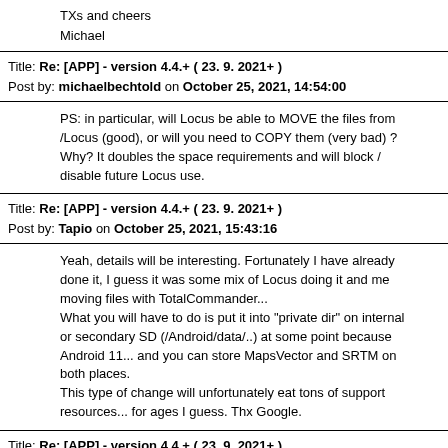TXs and cheers
Michael
Title: Re: [APP] - version 4.4.+ ( 23. 9. 2021+ )
Post by: michaelbechtold on October 25, 2021, 14:54:00
PS: in particular, will Locus be able to MOVE the files from /Locus (good), or will you need to COPY them (very bad) ? Why? It doubles the space requirements and will block / disable future Locus use.
Title: Re: [APP] - version 4.4.+ ( 23. 9. 2021+ )
Post by: Tapio on October 25, 2021, 15:43:16
Yeah, details will be interesting. Fortunately I have already done it, I guess it was some mix of Locus doing it and me moving files with TotalCommander...
What you will have to do is put it into "private dir" on internal or secondary SD (/Android/data/..) at some point because Android 11... and you can store MapsVector and SRTM on both places.
This type of change will unfortunately eat tons of support resources... for ages I guess. Thx Google.
Title: Re: [APP] - version 4.4.+ ( 23. 9. 2021+ )
Post by: Viajero Perdido on October 25, 2021, 22:02:50